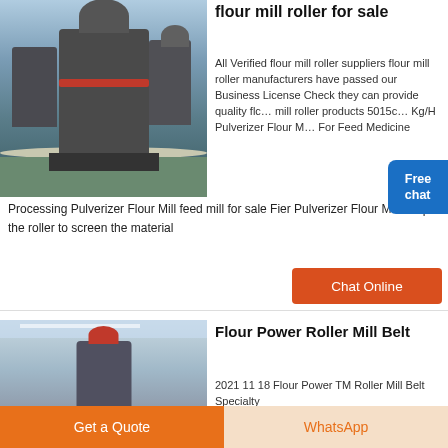[Figure (photo): Industrial flour mill roller machine in a large factory hall with gravel floor and red border ring, multiple machines visible in background]
flour mill roller for sale
All Verified flour mill roller suppliers flour mill roller manufacturers have passed our Business License Check they can provide quality flour mill roller products 50150 Kg/H Pulverizer Flour Mill For Feed Medicine Processing Pulverizer Flour Mill feed mill for sale Fier Pulverizer Flour Mill adopts the roller to screen the material
Chat Online
[Figure (photo): Second flour mill machine in industrial warehouse setting, tall cylindrical machine with red top piece]
Flour Power Roller Mill Belt
2021 11 18 Flour Power TM Roller Mill Belt Specialty
Get a Quote
WhatsApp